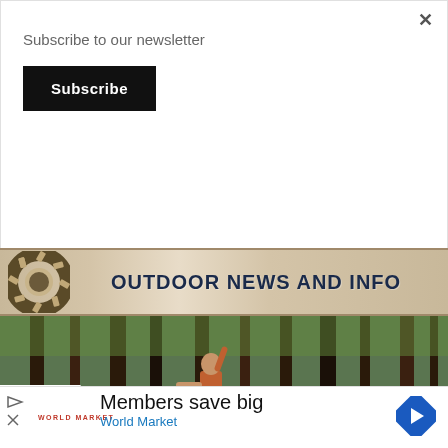Subscribe to our newsletter
Subscribe
[Figure (illustration): Outdoor News and Info banner with tire track graphic on left and bold dark blue text]
[Figure (photo): Young woman with camera hiking in a pine forest, arms outstretched, wearing orange top and shorts]
Members save big
World Market